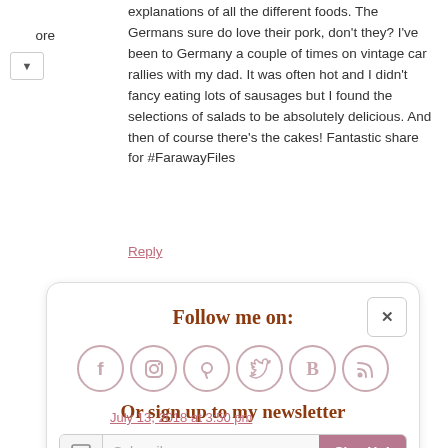explanations of all the different foods. The Germans sure do love their pork, don't they? I've been to Germany a couple of times on vintage car rallies with my dad. It was often hot and I didn't fancy eating lots of sausages but I found the selections of salads to be absolutely delicious. And then of course there's the cakes! Fantastic share for #FarawayFiles
Reply
[Figure (infographic): Follow me on social media widget with icons for Facebook, Instagram, Pinterest, Twitter, Bloglovin, RSS feed, and a newsletter sign-up box with Subscribe input and Sign Up! button. Has a close (x) button. Text reads 'Follow me on:' and 'Or sign up to my newsletter'.]
July 13, 2018 at 3:50 pm